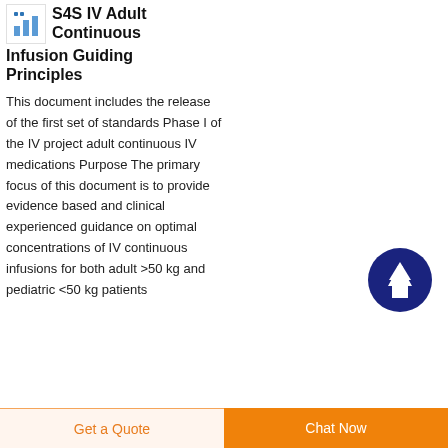[Figure (logo): Small bar chart logo icon with blue bars]
S4S IV Adult Continuous Infusion Guiding Principles
This document includes the release of the first set of standards Phase I of the IV project adult continuous IV medications Purpose The primary focus of this document is to provide evidence based and clinical experienced guidance on optimal concentrations of IV continuous infusions for both adult >50 kg and pediatric <50 kg patients